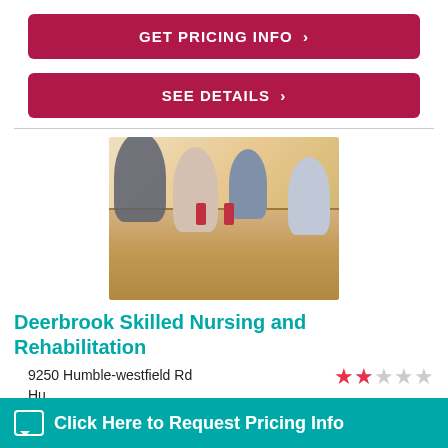GET PRICING INFO >
SEE DETAILS >
[Figure (photo): Elderly residents sitting around a table eating/dining together in a nursing home, with a caregiver standing in the background]
Deerbrook Skilled Nursing and Rehabilitation
9250 Humble-westfield Rd
Humble, TX 77338
[Figure (other): 2 out of 5 star rating shown with pink/crimson filled stars and grey empty stars]
Click Here to Request Pricing Info